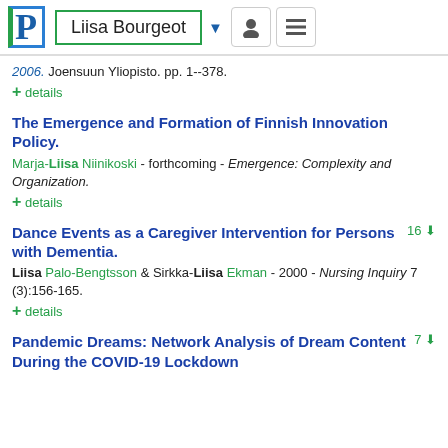Liisa Bourgeot
2006. Joensuun Yliopisto. pp. 1--378.
+ details
The Emergence and Formation of Finnish Innovation Policy.
Marja-Liisa Niinikoski - forthcoming - Emergence: Complexity and Organization.
+ details
Dance Events as a Caregiver Intervention for Persons with Dementia.
Liisa Palo-Bengtsson & Sirkka-Liisa Ekman - 2000 - Nursing Inquiry 7 (3):156-165.
+ details
Pandemic Dreams: Network Analysis of Dream Content During the COVID-19 Lockdown